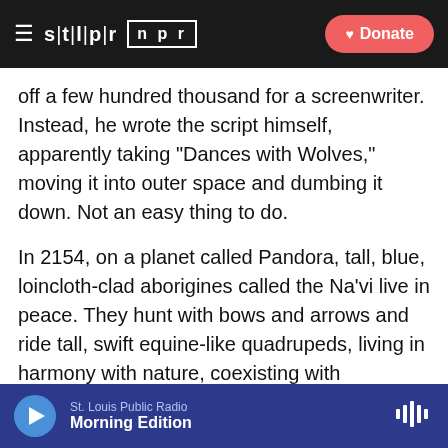STLPR NPR | Donate
off a few hundred thousand for a screenwriter. Instead, he wrote the script himself, apparently taking "Dances with Wolves," moving it into outer space and dumbing it down. Not an easy thing to do.
In 2154, on a planet called Pandora, tall, blue, loincloth-clad aborigines called the Na'vi live in peace. They hunt with bows and arrows and ride tall, swift equine-like quadrupeds, living in harmony with nature, coexisting with hammerhead rhinoceroses and crocodile-snouted wolves. When the Na'vi find it necessary to kill an animal for food, they thank the dismembered creature for giving up its life as sustenance. In what can only be described as a rain forest without the inconvenience of
St. Louis Public Radio | Morning Edition